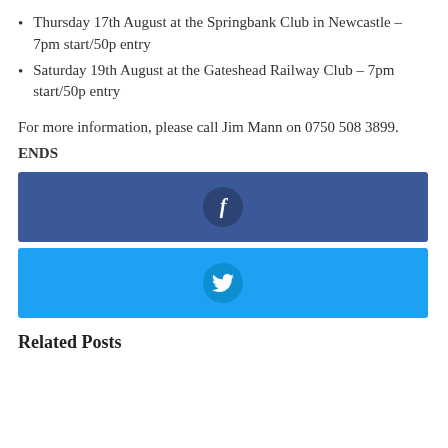Thursday 17th August at the Springbank Club in Newcastle – 7pm start/50p entry
Saturday 19th August at the Gateshead Railway Club – 7pm start/50p entry
For more information, please call Jim Mann on 0750 508 3899.
ENDS
[Figure (infographic): Facebook share button – dark blue rectangle with Facebook 'f' icon circle in center]
[Figure (infographic): Twitter share button – light blue rectangle with Twitter bird icon circle in center]
Related Posts